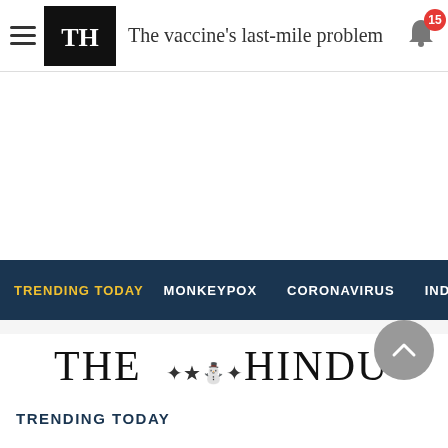The vaccine's last-mile problem
TRENDING TODAY  MONKEYPOX  CORONAVIRUS  INDIA AT 75
[Figure (logo): The Hindu newspaper logo with decorative emblem]
TRENDING TODAY